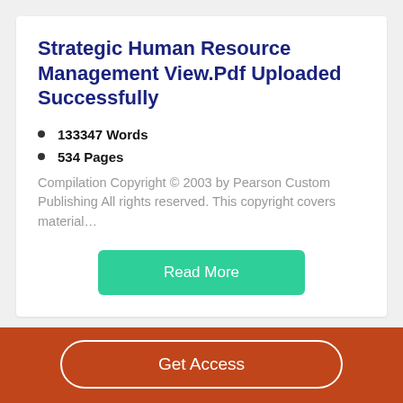Strategic Human Resource Management View.Pdf Uploaded Successfully
133347 Words
534 Pages
Compilation Copyright © 2003 by Pearson Custom Publishing All rights reserved. This copyright covers material…
Read More
Popular Essays
Get Access